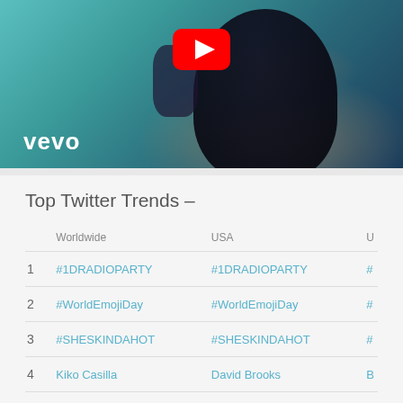[Figure (screenshot): Vevo music video thumbnail with YouTube play button overlay, showing a woman with dark hair against a teal background. Vevo logo visible in bottom-left.]
Top Twitter Trends –
|  | Worldwide | USA | U |
| --- | --- | --- | --- |
| 1 | #1DRADIOPARTY | #1DRADIOPARTY | # |
| 2 | #WorldEmojiDay | #WorldEmojiDay | # |
| 3 | #SHESKINDAHOT | #SHESKINDAHOT | # |
| 4 | Kiko Casilla | David Brooks | B |